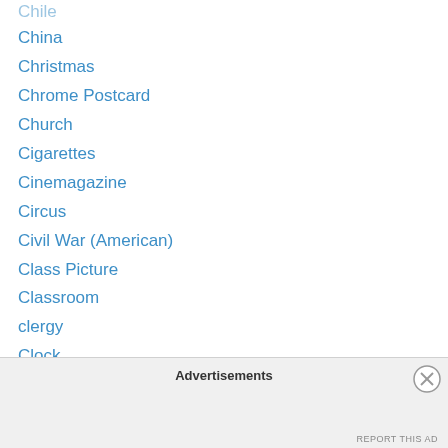Chile
China
Christmas
Chrome Postcard
Church
Cigarettes
Cinemagazine
Circus
Civil War (American)
Class Picture
Classroom
clergy
Clock
Composite Cabinet Card
Corsets
Couples
Cows
Advertisements
REPORT THIS AD